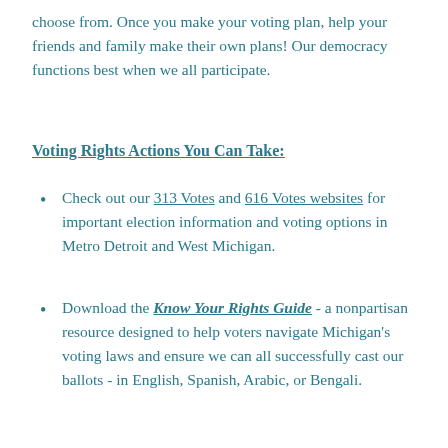choose from. Once you make your voting plan, help your friends and family make their own plans! Our democracy functions best when we all participate.
Voting Rights Actions You Can Take:
Check out our 313 Votes and 616 Votes websites for important election information and voting options in Metro Detroit and West Michigan.
Download the Know Your Rights Guide - a nonpartisan resource designed to help voters navigate Michigan's voting laws and ensure we can all successfully cast our ballots - in English, Spanish, Arabic, or Bengali.